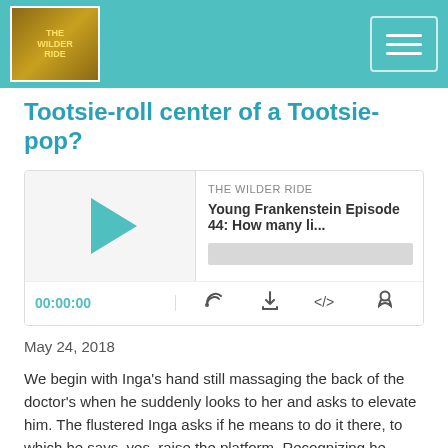The Wilder Ride
Tootsie-roll center of a Tootsie-pop?
[Figure (screenshot): Podcast player widget for 'Young Frankenstein Episode 44: How many li...' on The Wilder Ride. Shows a play button, progress bar, time display 00:00:00, and control icons for cast, download, embed, and share.]
May 24, 2018
We begin with Inga's hand still massaging the back of the doctor's when he suddenly looks to her and asks to elevate him. The flustered Inga asks if he means to do it there, to which he says, yes, raise the platform. Recognizing he wasn't on the same page, she goes over to Igor where they both get ready to turn the...
Read More
Young Frankenstein Episode 43: Why